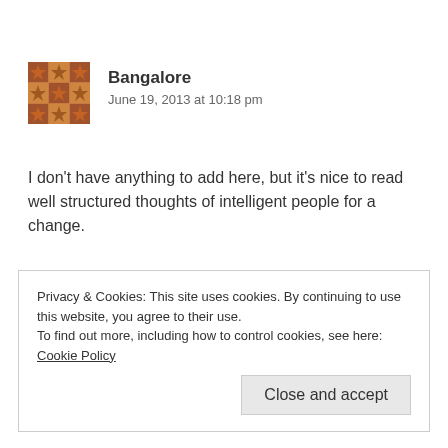[Figure (illustration): Avatar image: brown geometric mosaic/pattern square avatar]
Bangalore
June 19, 2013 at 10:18 pm
I don't have anything to add here, but it's nice to read well structured thoughts of intelligent people for a change.
★ Like
Reply ↓
Privacy & Cookies: This site uses cookies. By continuing to use this website, you agree to their use.
To find out more, including how to control cookies, see here: Cookie Policy
Close and accept